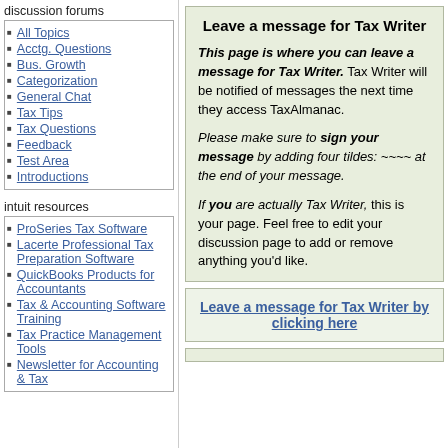discussion forums
All Topics
Acctg. Questions
Bus. Growth
Categorization
General Chat
Tax Tips
Tax Questions
Feedback
Test Area
Introductions
intuit resources
ProSeries Tax Software
Lacerte Professional Tax Preparation Software
QuickBooks Products for Accountants
Tax & Accounting Software Training
Tax Practice Management Tools
Newsletter for Accounting & Tax
Leave a message for Tax Writer
This page is where you can leave a message for Tax Writer. Tax Writer will be notified of messages the next time they access TaxAlmanac.
Please make sure to sign your message by adding four tildes: ~~~~ at the end of your message.
If you are actually Tax Writer, this is your page. Feel free to edit your discussion page to add or remove anything you'd like.
Leave a message for Tax Writer by clicking here